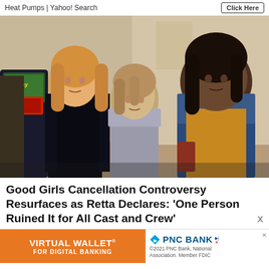Heat Pumps | Yahoo! Search
[Figure (photo): Three women standing together in an indoor setting. A blonde woman on the left in black, a shorter woman in the center in a grey patterned shirt, and a Black woman on the right wearing a yellow-orange top and denim jacket. The scene appears to be from the TV show Good Girls.]
Good Girls Cancellation Controversy Resurfaces as Retta Declares: 'One Person Ruined It for All Cast and Crew'
[Figure (infographic): Advertisement banner. Left side: orange background with text 'VIRTUAL WALLET® FOR DIGITAL BANKING'. Right side: white background with PNC Bank logo and text '©2021 PNC Bank, National Association. Member FDIC']